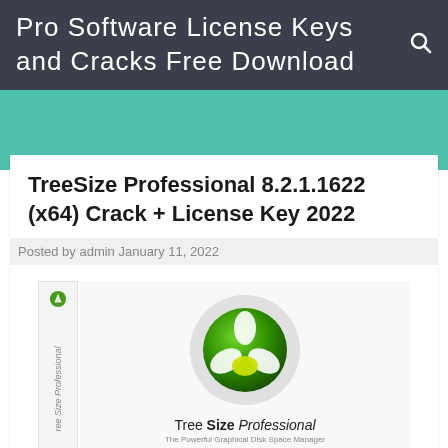Pro Software License Keys and Cracks Free Download
TreeSize Professional 8.2.1.1622 (x64) Crack + License Key 2022
Posted by admin January 11, 2022
[Figure (photo): TreeSize Professional software box with green tree/propeller logo on front and spine, showing product name 'Tree Size Professional' and tagline 'The Powerful Graphical Disk Space Manager']